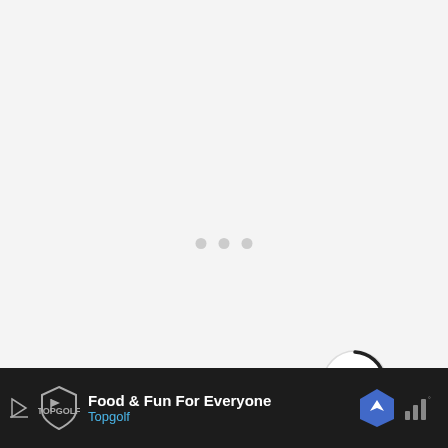[Figure (other): Loading indicator: three small gray dots centered on a light gray background]
[Figure (other): Scroll-to-top circular button with an upward arrow, partially filled arc border, positioned near top-right area; weather icon (bar chart style) to the right]
There are so many options in Puerto Rico that it’s difficult to narrow them down.
[Figure (other): Advertisement banner: dark background with Topgolf logo (triangle/shield icon), text 'Food & Fun For Everyone' in white and 'Topgolf' in blue, navigation arrow icon on right, weather bar icon on far right]